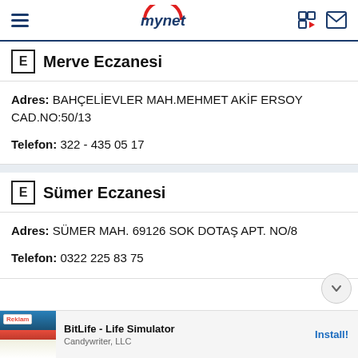mynet
E Merve Eczanesi
Adres: BAHÇELİEVLER MAH.MEHMET AKİF ERSOY CAD.NO:50/13
Telefon: 322 - 435 05 17
E Sümer Eczanesi
Adres: SÜMER MAH. 69126 SOK DOTAŞ APT. NO/8
Telefon: 0322 225 83 75
[Figure (screenshot): Advertisement banner: BitLife - Life Simulator by Candywriter, LLC with Install button]